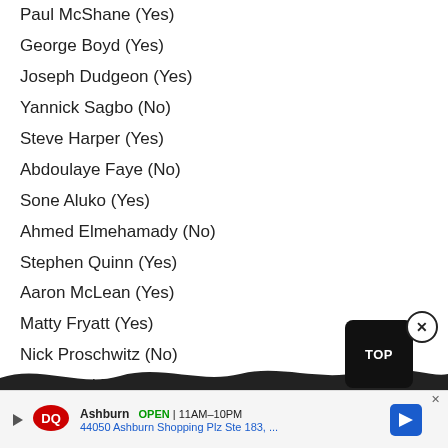Paul McShane (Yes)
George Boyd (Yes)
Joseph Dudgeon (Yes)
Yannick Sagbo (No)
Steve Harper (Yes)
Abdoulaye Faye (No)
Sone Aluko (Yes)
Ahmed Elmehamady (No)
Stephen Quinn (Yes)
Aaron McLean (Yes)
Matty Fryatt (Yes)
Nick Proschwitz (No)
Mohamed Nagy (No)
Under-21 players
William Aimson
William Annan
James Armstrong